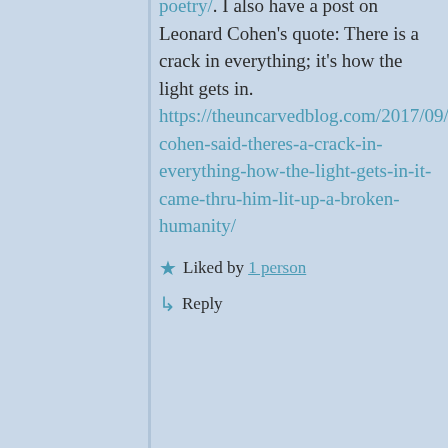poetry/. I also have a post on Leonard Cohen's quote: There is a crack in everything; it's how the light gets in. https://theuncarvedblog.com/2017/09/10/leonard-cohen-said-theres-a-crack-in-everything-how-the-light-gets-in-it-came-thru-him-lit-up-a-broken-humanity/
Liked by 1 person
Reply